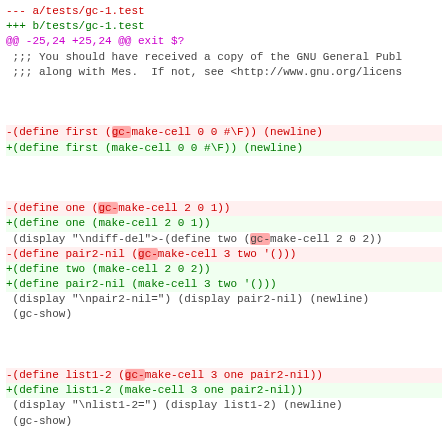--- a/tests/gc-1.test
+++ b/tests/gc-1.test
@@ -25,24 +25,24 @@ exit $?
 ;;; You should have received a copy of the GNU General Publ
 ;;; along with Mes.  If not, see <http://www.gnu.org/licens

-(define first (gc-make-cell 0 0 #\F)) (newline)
+(define first (make-cell 0 0 #\F)) (newline)

-(define one (gc-make-cell 2 0 1))
+(define one (make-cell 2 0 1))
 (display "\n one=") (display one) (newline)
-(define two (gc-make-cell 2 0 2))
-(define pair2-nil (gc-make-cell 3 two '()))
+(define two (make-cell 2 0 2))
+(define pair2-nil (make-cell 3 two '()))
 (display "\npair2-nil=") (display pair2-nil) (newline)
 (gc-show)

-(define list1-2 (gc-make-cell 3 one pair2-nil))
+(define list1-2 (make-cell 3 one pair2-nil))
 (display "\nlist1-2=") (display list1-2) (newline)
 (gc-show)

-(define three (gc-make-cell 2 0 3))
-(define four (gc-make-cell 2 0 4))
-(define pair4-nil (gc-make-cell 3 four '()))
-(define list3-4 (gc-make-cell 3 three pair4-nil))
-(define list1234 (gc-make-cell 3 list1-2 list3-4))
+(define three (make-cell 2 0 3))
+(define four (make-cell 2 0 4))
+(define pair4-nil (make-cell 3 four '()))